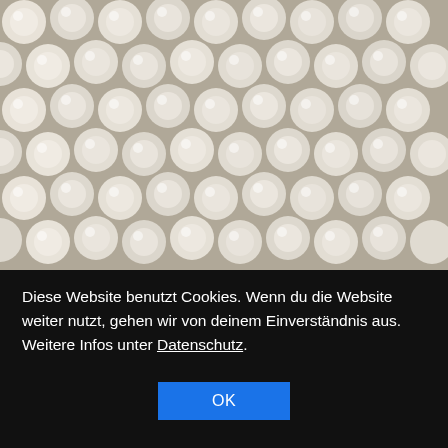[Figure (photo): Close-up photo of many small white/cream ceramic or alumina beads/balls filling the entire frame, with soft shadows between them.]
Diese Website benutzt Cookies. Wenn du die Website weiter nutzt, gehen wir von deinem Einverständnis aus. Weitere Infos unter Datenschutz.
OK